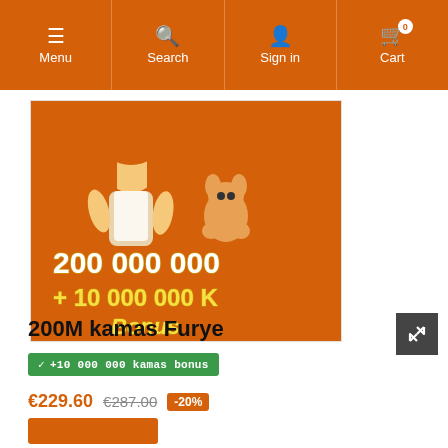Menu | Search | Sign in | Cart
[Figure (illustration): Game product image showing anime-style characters with text '200 000 000 + 10 000 000 K Bonus' on orange background]
200M kamas Furye
✓ +10 000 000 kamas bonus
€229.60  €287.00  -20%